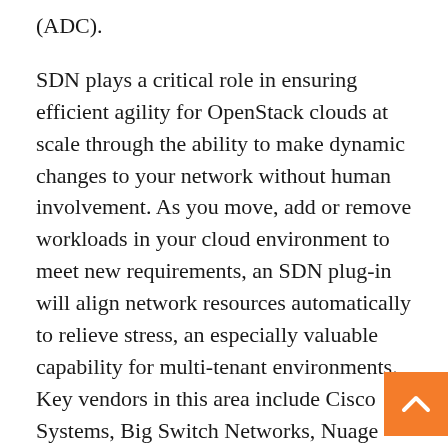(ADC).
SDN plays a critical role in ensuring efficient agility for OpenStack clouds at scale through the ability to make dynamic changes to your network without human involvement. As you move, add or remove workloads in your cloud environment to meet new requirements, an SDN plug-in will align network resources automatically to relieve stress, an especially valuable capability for multi-tenant environments. Key vendors in this area include Cisco Systems, Big Switch Networks, Nuage Networks, and Brocade Communications; large telecom providers like Ericsson and Nokia also provide their own SDN controllers.
The agility and network flexibility of SDN goes hand-in-hand with load balancing and ADC functionality. An ADC plug-in for OpenStack can make it simple to